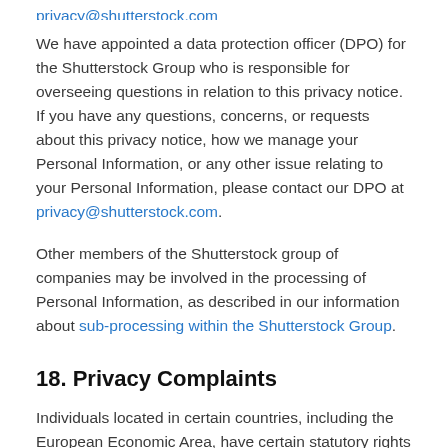We have appointed a data protection officer (DPO) for the Shutterstock Group who is responsible for overseeing questions in relation to this privacy notice. If you have any questions, concerns, or requests about this privacy notice, how we manage your Personal Information, or any other issue relating to your Personal Information, please contact our DPO at privacy@shutterstock.com.
Other members of the Shutterstock group of companies may be involved in the processing of Personal Information, as described in our information about sub-processing within the Shutterstock Group.
18. Privacy Complaints
Individuals located in certain countries, including the European Economic Area, have certain statutory rights in relation to their personal data. Subject to any exemptions provided by law, you may have the right to...